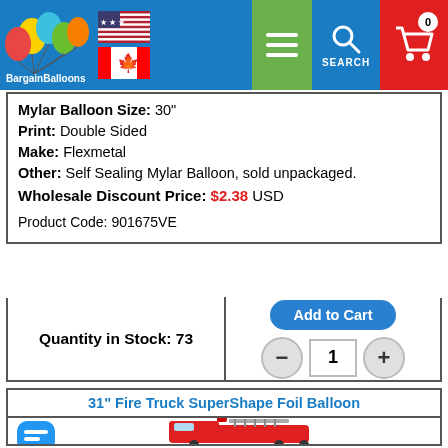BargainBalloons website header with logo, flags, menu, search, and cart
Mylar Balloon Size: 30"
Print: Double Sided
Make: Flexmetal
Other: Self Sealing Mylar Balloon, sold unpackaged.
Wholesale Discount Price: $2.38 USD
Product Code: 901675VE
Quantity in Stock: 73
Add to Cart
31" Fire Truck SuperShape Foil Balloon
[Figure (photo): Fire Truck SuperShape Foil Balloon product image, partially visible at bottom]